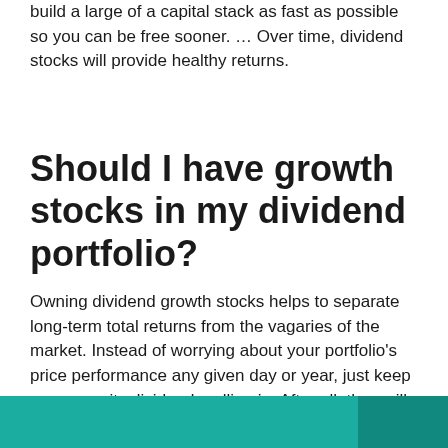build a large of a capital stack as fast as possible so you can be free sooner. … Over time, dividend stocks will provide healthy returns.
Should I have growth stocks in my dividend portfolio?
Owning dividend growth stocks helps to separate long-term total returns from the vagaries of the market. Instead of worrying about your portfolio's price performance any given day or year, just keep an eye on its dividends rolling in. After all, they will account for a substantial portion of your returns.